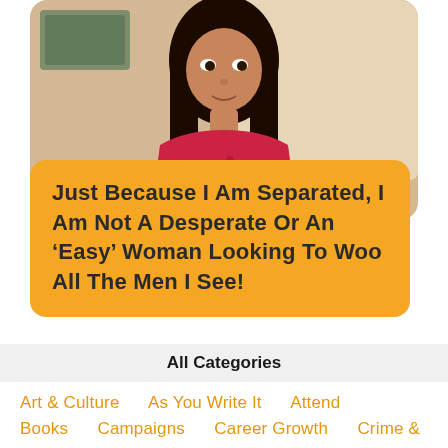[Figure (photo): A woman with long dark hair wearing a red/pink patterned outfit, photographed from shoulders up in what appears to be an indoor setting with a blurred background]
Just Because I Am Separated, I Am Not A Desperate Or An ‘Easy’ Woman Looking To Woo All The Men I See!
All Categories
Art & Culture
As You Write It
Attend
Books
Campaigns
Career Growth
Crime & Law
Disability & Inclusion
Entrepreneurship
Fashion
Feminist